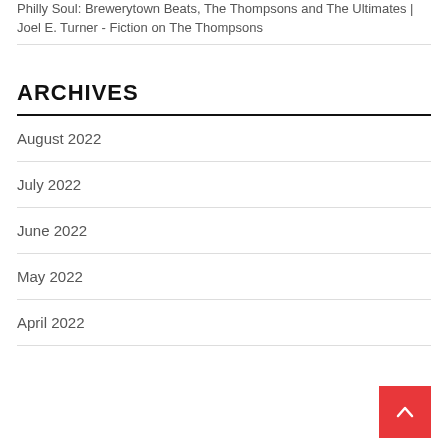Philly Soul: Brewerytown Beats, The Thompsons and The Ultimates | Joel E. Turner - Fiction on The Thompsons
ARCHIVES
August 2022
July 2022
June 2022
May 2022
April 2022